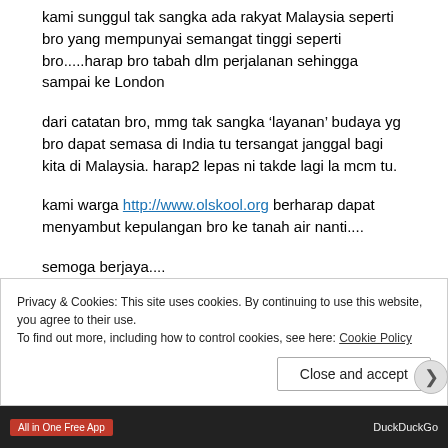kami sunggul tak sangka ada rakyat Malaysia seperti bro yang mempunyai semangat tinggi seperti bro.....harap bro tabah dlm perjalanan sehingga sampai ke London
dari catatan bro, mmg tak sangka ‘layanan’ budaya yg bro dapat semasa di India tu tersangat janggal bagi kita di Malaysia. harap2 lepas ni takde lagi la mcm tu.
kami warga http://www.olskool.org berharap dapat menyambut kepulangan bro ke tanah air nanti....
semoga berjaya....
★ Like
Privacy & Cookies: This site uses cookies. By continuing to use this website, you agree to their use.
To find out more, including how to control cookies, see here: Cookie Policy
Close and accept